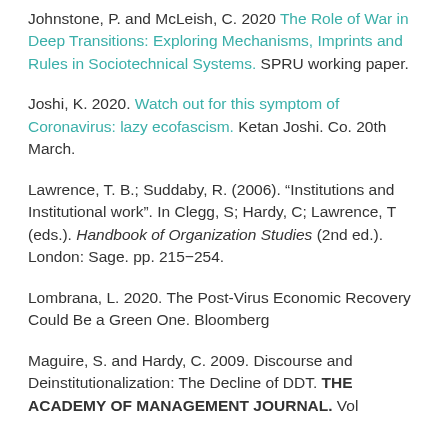Johnstone, P. and McLeish, C. 2020 The Role of War in Deep Transitions: Exploring Mechanisms, Imprints and Rules in Sociotechnical Systems. SPRU working paper.
Joshi, K. 2020. Watch out for this symptom of Coronavirus: lazy ecofascism. Ketan Joshi. Co. 20th March.
Lawrence, T. B.; Suddaby, R. (2006). "Institutions and Institutional work". In Clegg, S; Hardy, C; Lawrence, T (eds.). Handbook of Organization Studies (2nd ed.). London: Sage. pp. 215–254.
Lombrana, L. 2020. The Post-Virus Economic Recovery Could Be a Green One. Bloomberg
Maguire, S. and Hardy, C. 2009. Discourse and Deinstitutionalization: The Decline of DDT. THE ACADEMY OF MANAGEMENT JOURNAL. Vol